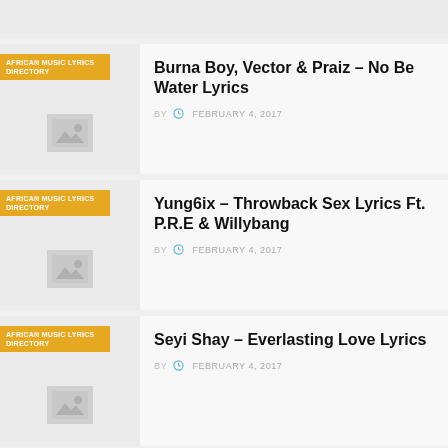[Figure (screenshot): Partial top card (cropped at top of page)]
Burna Boy, Vector & Praiz – No Be Water Lyrics
BY   FEBRUARY 4, 2017
Yung6ix – Throwback Sex Lyrics Ft. P.R.E & Willybang
BY   FEBRUARY 4, 2017
Seyi Shay – Everlasting Love Lyrics
BY   FEBRUARY 4, 2017